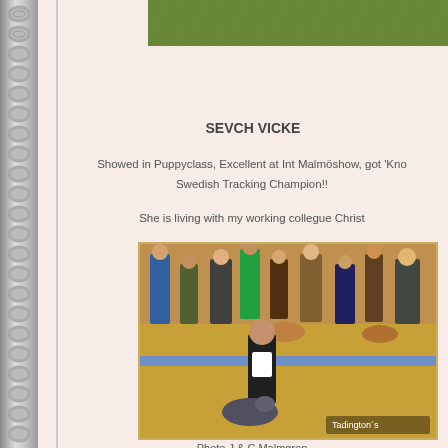[Figure (photo): Top portion of an outdoor grass photo, cropped at top of page]
SEVCH VICKE
Showed in Puppyclass, Excellent at Int Malmöshow, got 'Kno Swedish Tracking Champion!!
She is living with my working collegue Christ
[Figure (photo): Indoor dog show photo with handler in black jacket presenting a dog on yellow floor, audience in background, watermark 'Tadington's']
Photo J & C Malmgren